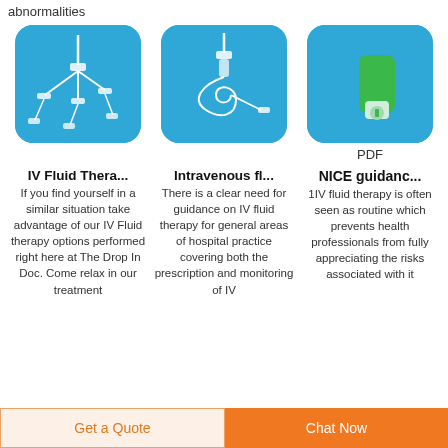abnormalities
[Figure (photo): IV fluid therapy set with multiple lines and connectors on blue background]
[Figure (photo): Intravenous fluid coiled tubing set on blue background]
[Figure (photo): Green syringe filter / needle on blue background with PDF label]
PDF
IV Fluid Thera...
Intravenous fl...
NICE guidanc...
If you find yourself in a similar situation take advantage of our IV Fluid therapy options performed right here at The Drop In Doc. Come relax in our treatment
There is a clear need for guidance on IV fluid therapy for general areas of hospital practice covering both the prescription and monitoring of IV
1IV fluid therapy is often seen as routine which prevents health professionals from fully appreciating the risks associated with it